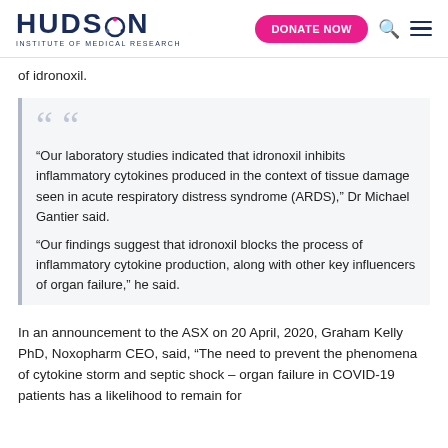HUDSON INSTITUTE OF MEDICAL RESEARCH | DONATE NOW
of idronoxil.
“Our laboratory studies indicated that idronoxil inhibits inflammatory cytokines produced in the context of tissue damage seen in acute respiratory distress syndrome (ARDS),” Dr Michael Gantier said.

“Our findings suggest that idronoxil blocks the process of inflammatory cytokine production, along with other key influencers of organ failure,” he said.
In an announcement to the ASX on 20 April, 2020, Graham Kelly PhD, Noxopharm CEO, said, “The need to prevent the phenomena of cytokine storm and septic shock – organ failure in COVID-19 patients has a likelihood to remain for